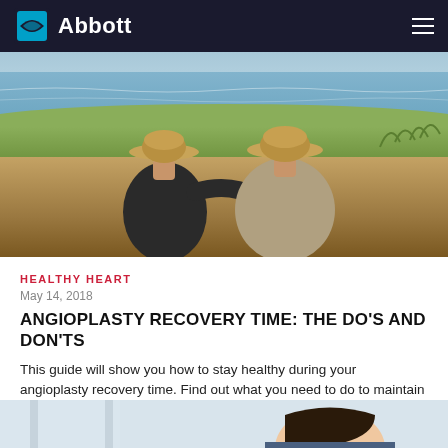Abbott
[Figure (photo): Two elderly people wearing straw hats sitting together outdoors by water, viewed from behind, one with arm around the other]
HEALTHY HEART
May 14, 2018
ANGIOPLASTY RECOVERY TIME: THE DO'S AND DON'TS
This guide will show you how to stay healthy during your angioplasty recovery time. Find out what you need to do to maintain a strong heart post-surgery
[Figure (photo): Partial view of a person with glasses, cropped at bottom of page]